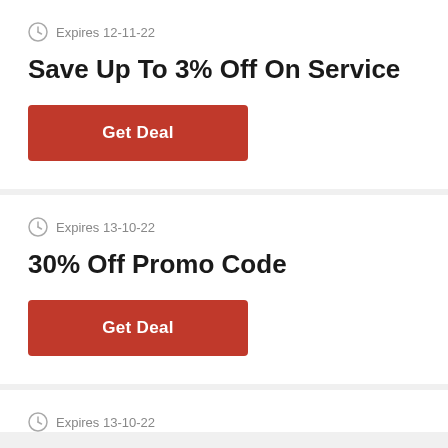Expires 12-11-22
Save Up To 3% Off On Service
Get Deal
Expires 13-10-22
30% Off Promo Code
Get Deal
Expires 13-10-22